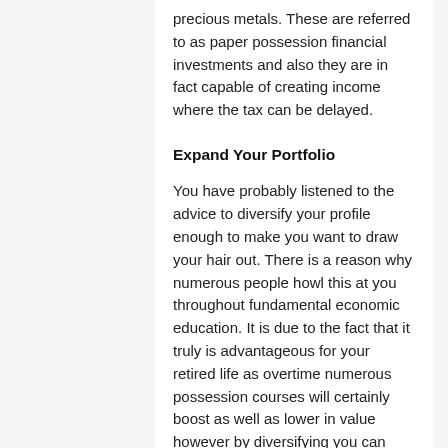precious metals. These are referred to as paper possession financial investments and also they are in fact capable of creating income where the tax can be delayed.
Expand Your Portfolio
You have probably listened to the advice to diversify your profile enough to make you want to draw your hair out. There is a reason why numerous people howl this at you throughout fundamental economic education. It is due to the fact that it truly is advantageous for your retired life as overtime numerous possession courses will certainly boost as well as lower in value however by diversifying you can